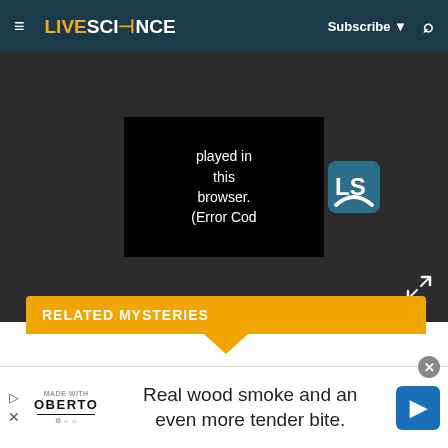LIVE SCIENCE — Subscribe ▼ 🔍
[Figure (screenshot): Video player error screen showing text: 'played in this browser. (Error Cod' with Live Science logo badge and expand icon on dark background]
RELATED MYSTERIES
—What was the largest empire in the world?
—What's the world's longest bridge?
—When did Constantinople become Istanbul?
This negative perception persisted for quite some time. "Ordinary people had to provide labor over many years to construct it, and it became a powerful
Real wood smoke and an even more tender bite.